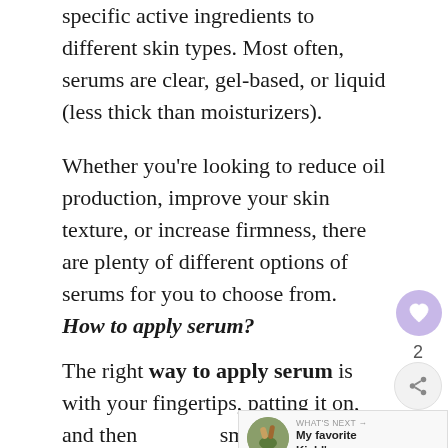specific active ingredients to different skin types. Most often, serums are clear, gel-based, or liquid (less thick than moisturizers).
Whether you're looking to reduce oil production, improve your skin texture, or increase firmness, there are plenty of different options of serums for you to choose from.
How to apply serum?
The right way to apply serum is with your fingertips, patting it on, and then smoothing it out. Let the formula absorb on its own. The key here is to press gently,
[Figure (other): UI overlay elements: a purple heart icon button, a share icon button with count '2', and a 'What's Next' thumbnail preview showing 'My favorite Kiehl's...']